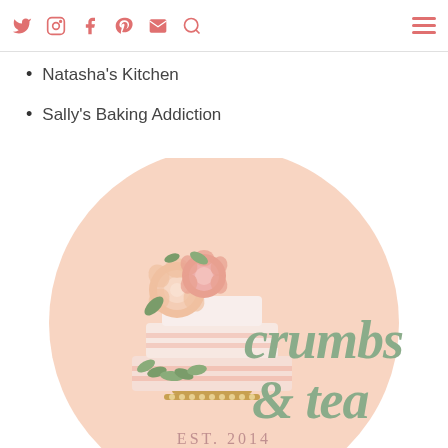Navigation bar with social icons (Twitter, Instagram, Facebook, Pinterest, Email, Search) and hamburger menu
Natasha's Kitchen
Sally's Baking Addiction
[Figure (logo): Crumbs & Tea blog logo: a peach circle background with an illustrated layered cake decorated with roses, text 'crumbs & tea' in sage green script, and 'EST. 2014' in dusty rose below]